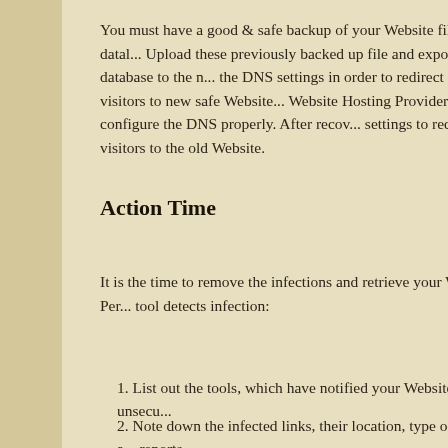You must have a good & safe backup of your Website files and data... Upload these previously backed up file and export database to the new server, change the DNS settings in order to redirect the visitors to new safe Website. Contact your Website Hosting Provider to configure the DNS properly. After recovery, revert back the DNS settings to redirect the visitors to the old Website.
Action Time
It is the time to remove the infections and retrieve your Website. Perform following when tool detects infection:
1. List out the tools, which have notified your Website as unsecure.
2. Note down the infected links, their location, type of infection and reports.
3. Scan the computer(s) on which you have access to the Website.